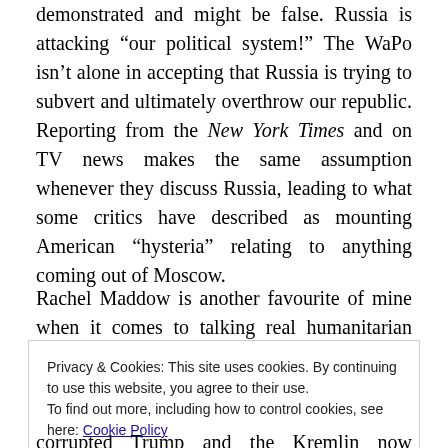demonstrated and might be false. Russia is attacking “our political system!” The WaPo isn’t alone in accepting that Russia is trying to subvert and ultimately overthrow our republic. Reporting from the New York Times and on TV news makes the same assumption whenever they discuss Russia, leading to what some critics have described as mounting American “hysteria” relating to anything coming out of Moscow.
Rachel Maddow is another favourite of mine when it comes to talking real humanitarian feel-good stuff out one
Privacy & Cookies: This site uses cookies. By continuing to use this website, you agree to their use.
To find out more, including how to control cookies, see here: Cookie Policy
corrupted Trump and the Kremlin now controls him. She